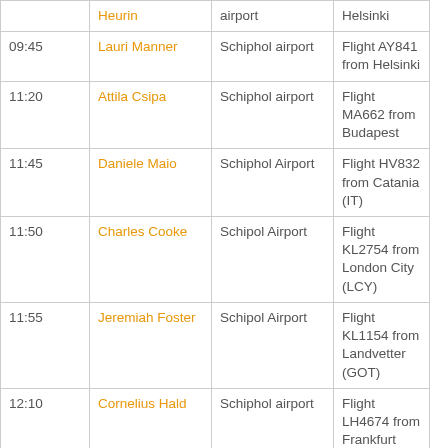| Time | Name | Location | Flight |
| --- | --- | --- | --- |
|  | Heurin | airport | Helsinki |
| 09:45 | Lauri Manner | Schiphol airport | Flight AY841 from Helsinki |
| 11:20 | Attila Csipa | Schiphol airport | Flight MA662 from Budapest |
| 11:45 | Daniele Maio | Schiphol Airport | Flight HV832 from Catania (IT) |
| 11:50 | Charles Cooke | Schipol Airport | Flight KL2754 from London City (LCY) |
| 11:55 | Jeremiah Foster | Schipol Airport | Flight KL1154 from Landvetter (GOT) |
| 12:10 | Cornelius Hald | Schiphol airport | Flight LH4674 from Frankfurt |
| 14:10 | David Greaves | Schiphol airport | Flight KL1010 from London Heathrow |
| 14:15 | Carsten Munk | Schiphol airport | Flight KL1364 from Warsaw |
| 17:10 | Marat Fayzullin | Schiphol airport | Flight KL0904 from Moscow |
| 17:45 | Kaj-Michael | Schiphol airport | Flight AY0845 from Helsinki |